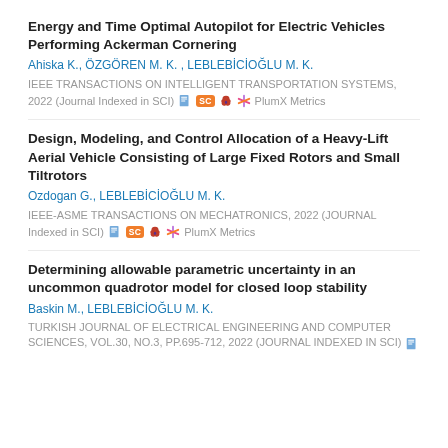Energy and Time Optimal Autopilot for Electric Vehicles Performing Ackerman Cornering
Ahiska K., ÖZGÖREN M. K. , LEBLEBİCİOĞLU M. K.
IEEE TRANSACTIONS ON INTELLIGENT TRANSPORTATION SYSTEMS,
2022 (Journal Indexed in SCI)  [icons] PlumX Metrics
Design, Modeling, and Control Allocation of a Heavy-Lift Aerial Vehicle Consisting of Large Fixed Rotors and Small Tiltrotors
Ozdogan G., LEBLEBİCİOĞLU M. K.
IEEE-ASME TRANSACTIONS ON MECHATRONICS, 2022 (Journal Indexed in SCI)  [icons] PlumX Metrics
Determining allowable parametric uncertainty in an uncommon quadrotor model for closed loop stability
Baskin M., LEBLEBİCİOĞLU M. K.
TURKISH JOURNAL OF ELECTRICAL ENGINEERING AND COMPUTER SCIENCES, vol.30, no.3, pp.695-712, 2022 (Journal Indexed in SCI)